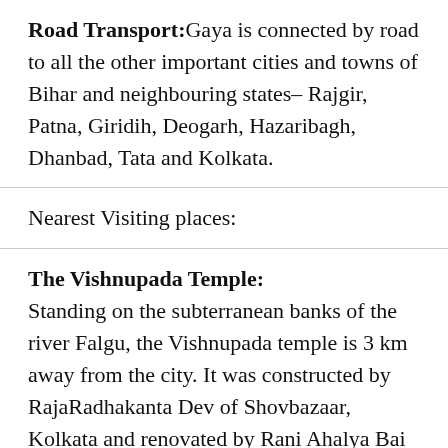Road Transport: Gaya is connected by road to all the other important cities and towns of Bihar and neighbouring states– Rajgir, Patna, Giridih, Deogarh, Hazaribagh, Dhanbad, Tata and Kolkata.
Nearest Visiting places:
The Vishnupada Temple:
Standing on the subterranean banks of the river Falgu, the Vishnupada temple is 3 km away from the city. It was constructed by RajaRadhakanta Dev of Shovbazaar, Kolkata and renovated by Rani Ahalya Bai of Indore. The temple has a 30 m high tower that rests on 8 rows of decorated pillars covered with silver. Within, 16 inches long and 6 inches